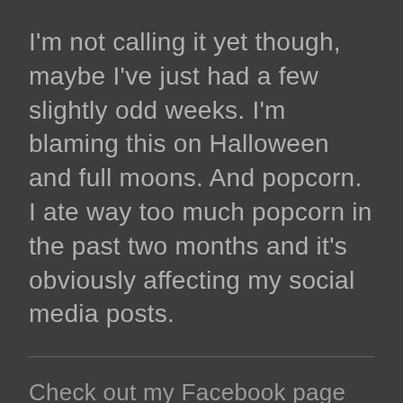I'm not calling it yet though, maybe I've just had a few slightly odd weeks. I'm blaming this on Halloween and full moons. And popcorn. I ate way too much popcorn in the past two months and it's obviously affecting my social media posts.
Check out my Facebook page @ShankYouHeather and @ShankYouDesigns